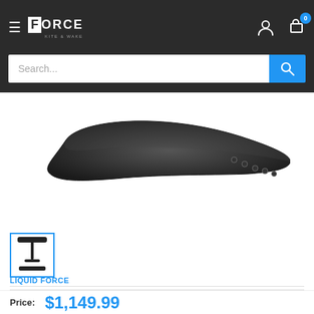FORCE KITE & WAKE — navigation header with search bar
[Figure (photo): Close-up photo of the bottom of a black hydrofoil wing/mast against a white background, showing screw holes along the edge]
[Figure (photo): Thumbnail image of the 2022 Liquid Force Flite 120 Foil Set showing full foil assembly (mast, fuselage, wings) in black on white background]
2022 Liquid Force Flite 120 Foil Set
LIQUID FORCE
Price: $1,149.99